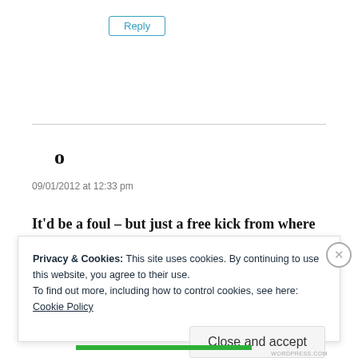Reply
o
09/01/2012 at 12:33 pm
It’d be a foul – but just a free kick from where it
Privacy & Cookies: This site uses cookies. By continuing to use this website, you agree to their use.
To find out more, including how to control cookies, see here:
Cookie Policy
Close and accept